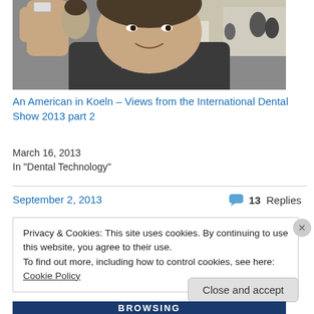[Figure (photo): A man smiling at the camera in an indoor setting, possibly an airport or exhibition hall, holding something small up with his hand. Other people visible in the background.]
An American in Koeln – Views from the International Dental Show 2013 part 2
March 16, 2013
In "Dental Technology"
September 2, 2013
13 Replies
Privacy & Cookies: This site uses cookies. By continuing to use this website, you agree to their use.
To find out more, including how to control cookies, see here: Cookie Policy
Close and accept
[Figure (screenshot): Partial bottom banner showing text 'BROWSING' in white bold letters on dark blue background]